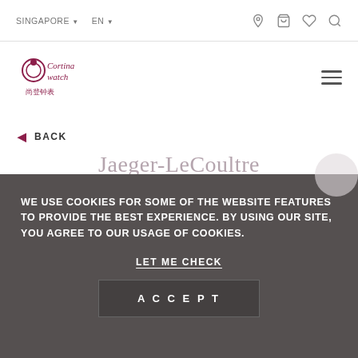SINGAPORE ▼   EN ▼
[Figure (logo): Cortina Watch logo with circular motif and Chinese characters]
BACK
Jaeger-LeCoultre
WE USE COOKIES FOR SOME OF THE WEBSITE FEATURES TO PROVIDE THE BEST EXPERIENCE. BY USING OUR SITE, YOU AGREE TO OUR USAGE OF COOKIES.
LET ME CHECK
ACCEPT